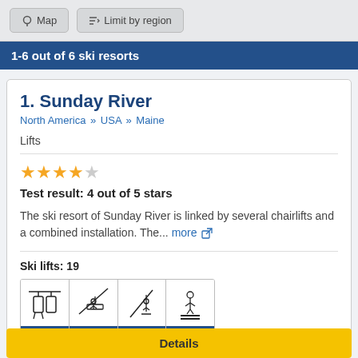Map | Limit by region
1-6 out of 6 ski resorts
1. Sunday River
North America » USA » Maine
Lifts
Test result: 4 out of 5 stars
The ski resort of Sunday River is linked by several chairlifts and a combined installation. The... more
Ski lifts: 19
[Figure (infographic): Ski lift type icons grid showing: 1 gondola/cable car, 14 chairlifts, 1 T-bar/drag lift, 3 conveyor/carpet lifts]
Details